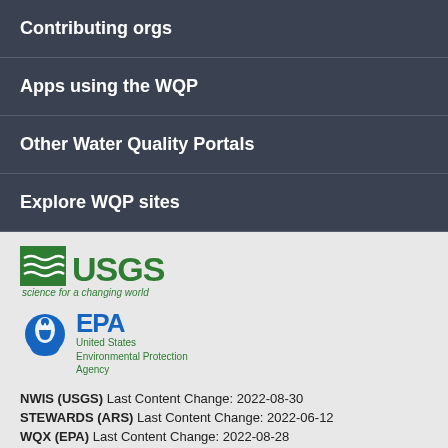Contributing orgs
Apps using the WQP
Other Water Quality Portals
Explore WQP sites
[Figure (logo): USGS logo with 'science for a changing world' tagline in green]
[Figure (logo): EPA logo with United States Environmental Protection Agency text in blue and green]
NWIS (USGS) Last Content Change: 2022-08-30
STEWARDS (ARS) Last Content Change: 2022-06-12
WQX (EPA) Last Content Change: 2022-08-28
Agency Contact Center